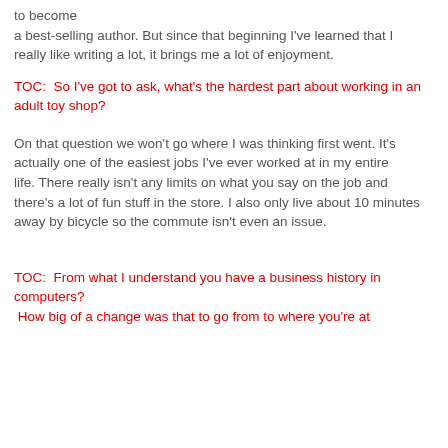to become
a best-selling author. But since that beginning I've learned that I
really like writing a lot, it brings me a lot of enjoyment.
TOC:  So I've got to ask, what's the hardest part about working in an
adult toy shop?
On that question we won't go where I was thinking first went. It's
actually one of the easiest jobs I've ever worked at in my entire
life. There really isn't any limits on what you say on the job and
there's a lot of fun stuff in the store. I also only live about 10 minutes away by bicycle so the commute isn't even an issue.
TOC:  From what I understand you have a business history in computers?
 How big of a change was that to go from to where you're at